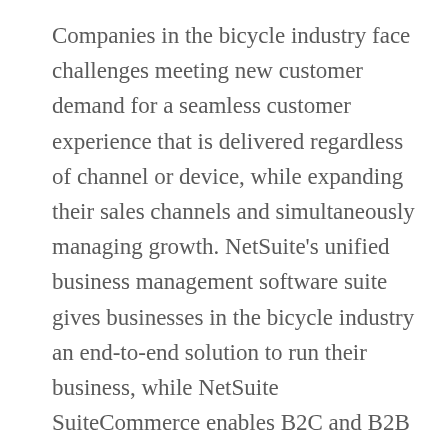Companies in the bicycle industry face challenges meeting new customer demand for a seamless customer experience that is delivered regardless of channel or device, while expanding their sales channels and simultaneously managing growth. NetSuite's unified business management software suite gives businesses in the bicycle industry an end-to-end solution to run their business, while NetSuite SuiteCommerce enables B2C and B2B businesses to seamlessly connect every step of a multi-channel, multi-location business—from ecommerce, POS and order management to merchandising, marketing, inventory, financials and customer service.